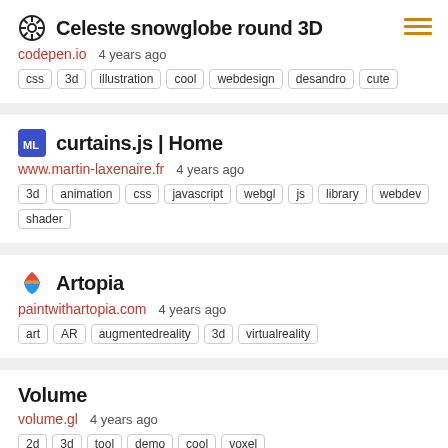Celeste snowglobe round 3D
codepen.io   4 years ago
css   3d   illustration   cool   webdesign   desandro   cute
curtains.js | Home
www.martin-laxenaire.fr   4 years ago
3d   animation   css   javascript   webgl   js   library   webdev   shader
Artopia
paintwithartopia.com   4 years ago
art   AR   augmentedreality   3d   virtualreality
Volume
volume.gl   4 years ago
2d   3d   tool   demo   cool   voxel